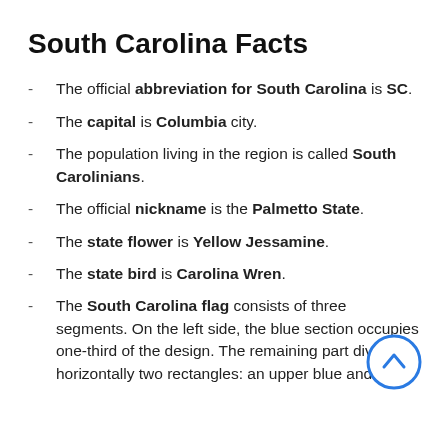South Carolina Facts
The official abbreviation for South Carolina is SC.
The capital is Columbia city.
The population living in the region is called South Carolinians.
The official nickname is the Palmetto State.
The state flower is Yellow Jessamine.
The state bird is Carolina Wren.
The South Carolina flag consists of three segments. On the left side, the blue section occupies one-third of the design. The remaining part divides horizontally two rectangles: an upper blue and a